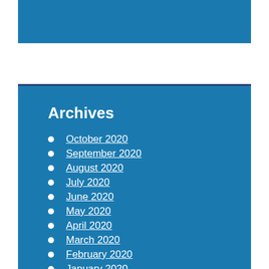Archives
October 2020
September 2020
August 2020
July 2020
June 2020
May 2020
April 2020
March 2020
February 2020
January 2020
December 2019